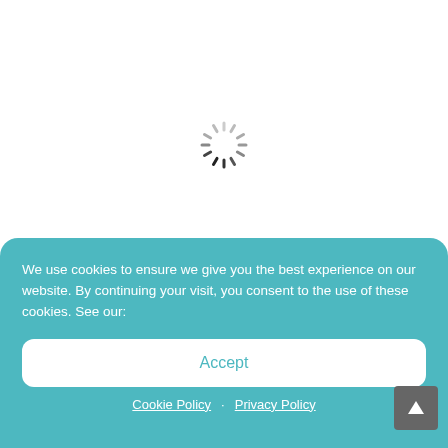[Figure (other): A loading spinner (circular activity indicator) with dashes arranged in a circle, showing a loading/waiting state. Some dashes are dark (near bottom-right) and others are light gray, indicating rotation.]
We use cookies to ensure we give you the best experience on our website. By continuing your visit, you consent to the use of these cookies. See our:
Accept
Cookie Policy · Privacy Policy